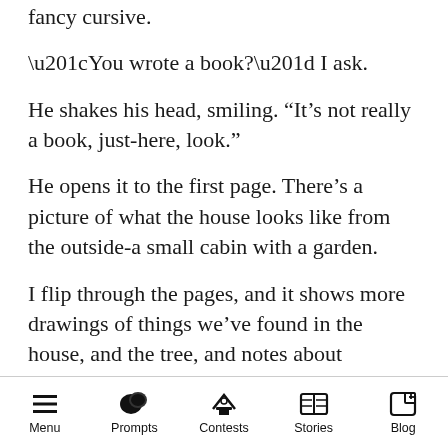fancy cursive.
“You wrote a book?” I ask.
He shakes his head, smiling. “It’s not really a book, just-here, look.”
He opens it to the first page. There’s a picture of what the house looks like from the outside-a small cabin with a garden.
I flip through the pages, and it shows more drawings of things we’ve found in the house, and the tree, and notes about different magic and things.
“I thought, maybe, this place could be a safe
Menu  Prompts  Contests  Stories  Blog